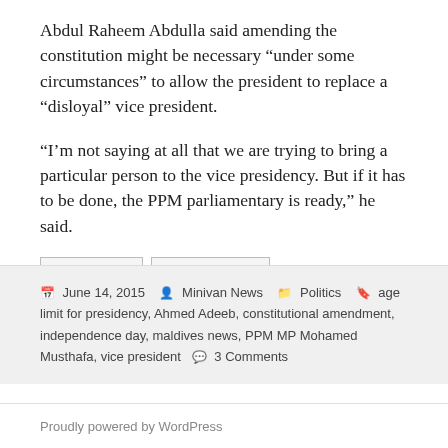Abdul Raheem Abdulla said amending the constitution might be necessary “under some circumstances” to allow the president to replace a “disloyal” vice president.
“I’m not saying at all that we are trying to bring a particular person to the vice presidency. But if it has to be done, the PPM parliamentary is ready,” he said.
[Figure (other): Likes (0) and Dislikes (0) buttons with thumbs up and thumbs down icons]
June 14, 2015  Minivan News  Politics  age limit for presidency, Ahmed Adeeb, constitutional amendment, independence day, maldives news, PPM MP Mohamed Musthafa, vice president  3 Comments
Proudly powered by WordPress